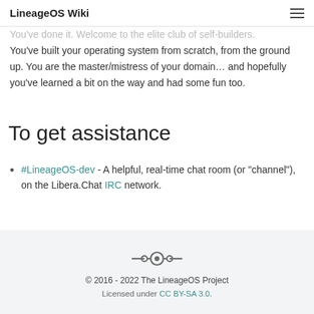LineageOS Wiki
You've done it. Welcome to the elite club of self-builders. You've built your operating system from scratch, from the ground up. You are the master/mistress of your domain… and hopefully you've learned a bit on the way and had some fun too.
To get assistance
#LineageOS-dev - A helpful, real-time chat room (or "channel"), on the Libera.Chat IRC network.
© 2016 - 2022 The LineageOS Project
Licensed under CC BY-SA 3.0.